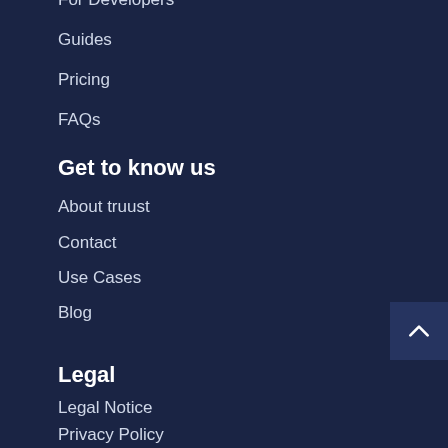For Developers
Guides
Pricing
FAQs
Get to know us
About truust
Contact
Use Cases
Blog
Legal
Legal Notice
Privacy Policy
Terms Of Service